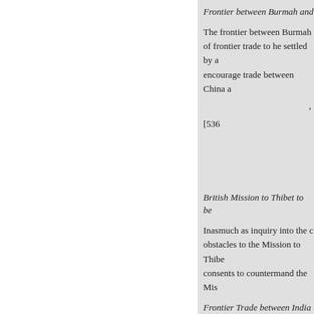Frontier between Burmah and
The frontier between Burmah of frontier trade to he settled by a encourage trade between China a
[536
British Mission to Thibet to be
Inasmuch as inquiry into the c obstacles to the Mission to Thibe consents to countermand the Mis
Frontier Trade between India
With regard to the desire of the B India and Thibet, it will be the d